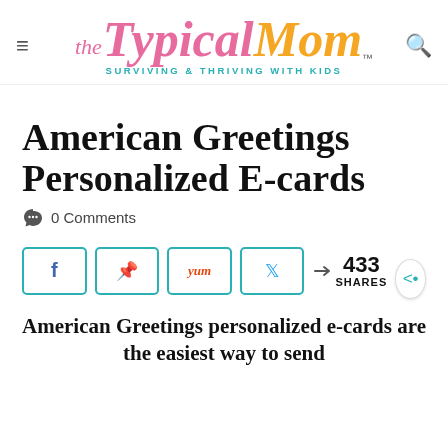The TypicalMom™ — SURVIVING & THRIVING WITH KIDS
American Greetings Personalized E-cards
0 Comments
[Figure (infographic): Social share buttons: Facebook, Pinterest, Yummly, Twitter; 433 SHARES count and share icon]
American Greetings personalized e-cards are the easiest way to send